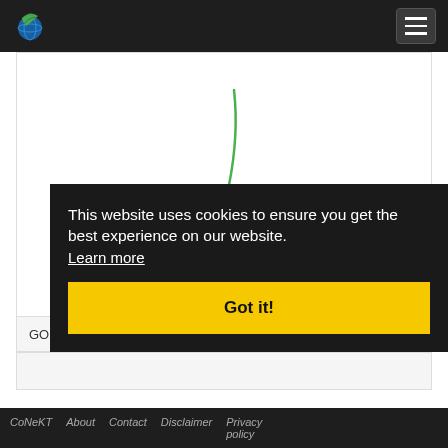Navigation bar with logo and hamburger menu
[Figure (illustration): Animated loading spinner — a thin curved green arc on white background, partially visible, suggesting a loading/spinner animation in progress]
GO Terms
This website uses cookies to ensure you get the best experience on our website. Learn more
Got it!
CoNeKT  About  Contact  Disclaimer  Privacy policy